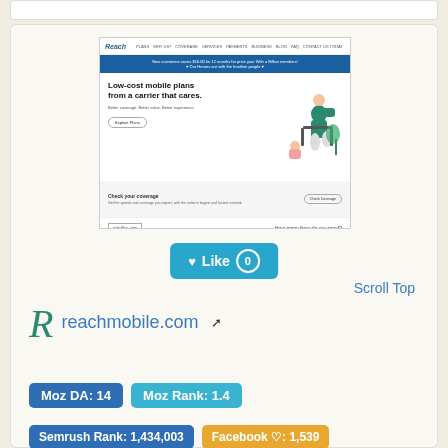[Figure (screenshot): Screenshot of reachmobile.com website showing 'Low-cost mobile plans from a carrier that cares.' with navigation, blue banner, hero section, coverage section, and sitelike.org watermark]
♥ Like 0
Scroll Top
reachmobile.com
Moz DA: 14
Moz Rank: 1.4
Semrush Rank: 1,434,003
Facebook ♡: 1,539